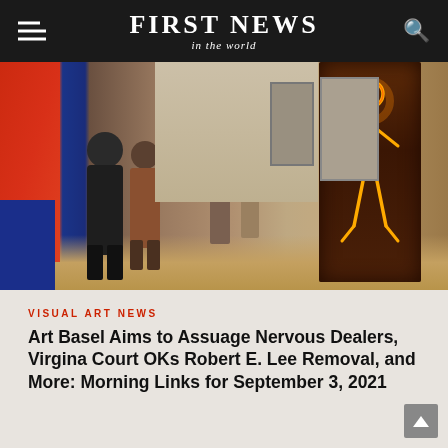FIRST NEWS in the world
[Figure (photo): Art gallery interior with visitors looking at artwork. On the right side is a dark wooden panel featuring a glowing neon outline of a human figure in orange/yellow tones. The left wall shows large red/orange abstract paintings and blue elements. Several people are visible conversing in the gallery space.]
VISUAL ART NEWS
Art Basel Aims to Assuage Nervous Dealers, Virgina Court OKs Robert E. Lee Removal, and More: Morning Links for September 3, 2021